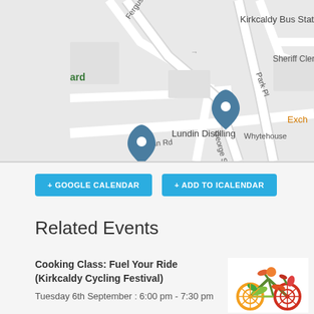[Figure (map): Street map showing Kirkcaldy area with location pins for Lundin Distilling and another location, streets including Swan Rd, Park Pl, Whytehouse, George St, Fergus Pl, with labels for Sheriff Clerk, Kirkcaldy Bus Stat, Exch, and 'ard' in green]
+ GOOGLE CALENDAR
+ ADD TO ICALENDAR
Related Events
Cooking Class: Fuel Your Ride (Kirkcaldy Cycling Festival)
Tuesday 6th September : 6:00 pm - 7:30 pm
[Figure (photo): A bicycle shape made from colorful vegetables and fruits]